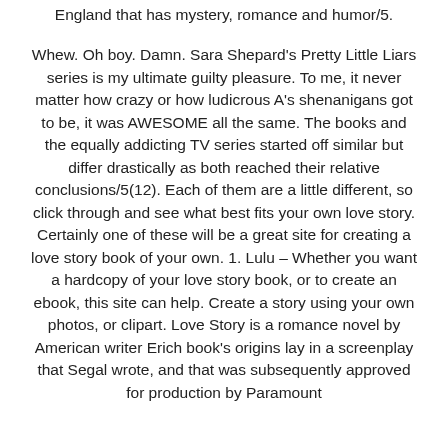England that has mystery, romance and humor/5.
Whew. Oh boy. Damn. Sara Shepard's Pretty Little Liars series is my ultimate guilty pleasure. To me, it never matter how crazy or how ludicrous A's shenanigans got to be, it was AWESOME all the same. The books and the equally addicting TV series started off similar but differ drastically as both reached their relative conclusions/5(12). Each of them are a little different, so click through and see what best fits your own love story. Certainly one of these will be a great site for creating a love story book of your own. 1. Lulu – Whether you want a hardcopy of your love story book, or to create an ebook, this site can help. Create a story using your own photos, or clipart. Love Story is a romance novel by American writer Erich book's origins lay in a screenplay that Segal wrote, and that was subsequently approved for production by Paramount